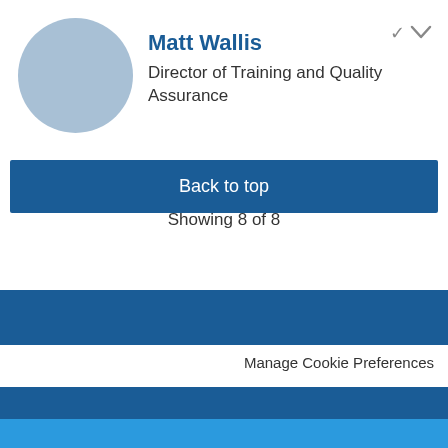[Figure (illustration): Circular avatar placeholder in light blue/steel color]
Matt Wallis
Director of Training and Quality Assurance
Back to top
Showing 8 of 8
Manage Cookie Preferences